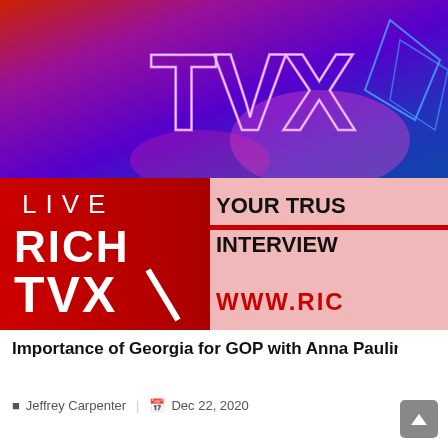[Figure (photo): Rich TVX Live broadcast screen showing TV studio with neon 'TVX' logo on purple/magenta background in upper half, and red banner with 'LIVE', 'RICH TVX' text on left and 'YOUR TRUSTED INTERVIEW' and 'WWW.RICH...' on right panel in lower half.]
Importance of Georgia for GOP with Anna Paulina Lun...
Jeffrey Carpenter | Dec 22, 2020